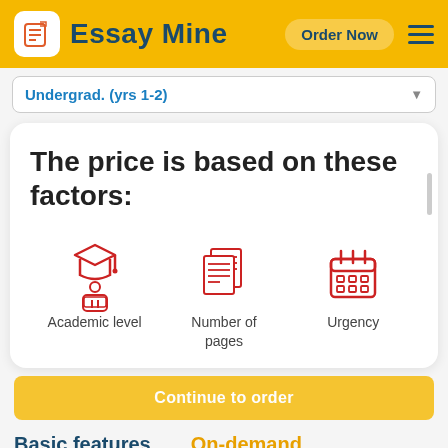Essay Mine   Order Now
Undergrad. (yrs 1-2)
The price is based on these factors:
[Figure (illustration): Three red icons: Academic level (student with graduation cap at laptop), Number of pages (stacked documents), Urgency (calendar)]
Academic level
Number of pages
Urgency
Continue to order
Basic features
On-demand